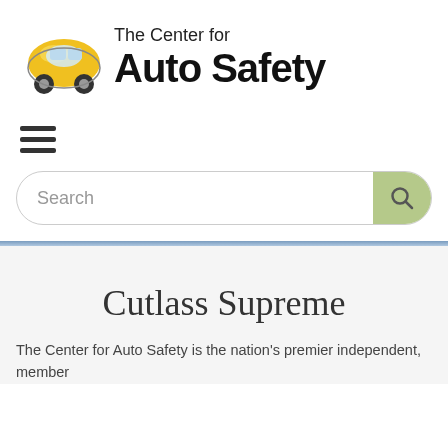[Figure (logo): The Center for Auto Safety logo with a yellow lemon-shaped car and bold text]
[Figure (other): Hamburger menu icon (three horizontal lines)]
[Figure (other): Search bar with placeholder text 'Search' and a green search button with magnifying glass icon]
Cutlass Supreme
The Center for Auto Safety is the nation's premier independent, member